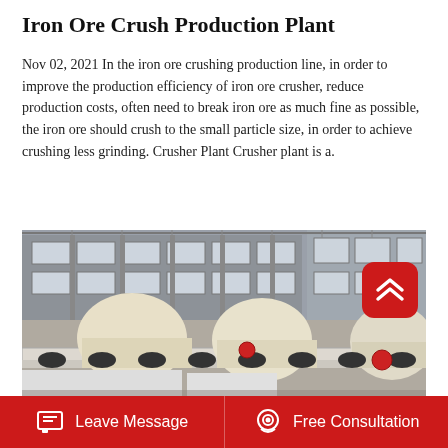Iron Ore Crush Production Plant
Nov 02, 2021 In the iron ore crushing production line, in order to improve the production efficiency of iron ore crusher, reduce production costs, often need to break iron ore as much fine as possible, the iron ore should crush to the small particle size, in order to achieve crushing less grinding. Crusher Plant Crusher plant is a.
[Figure (photo): Industrial crushing production plant interior showing large crushing equipment, rollers, and conveyor machinery inside a factory building with steel roof structure.]
Leave Message | Free Consultation